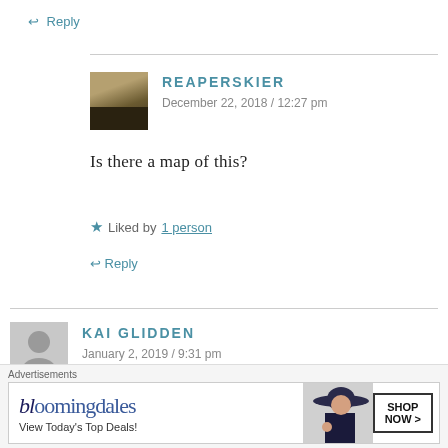↩ Reply
REAPERSKIER
December 22, 2018 / 12:27 pm
Is there a map of this?
★ Liked by 1 person
↩ Reply
KAI GLIDDEN
January 2, 2019 / 9:31 pm
Any information or sources for the Sunday River t-bar?
[Figure (screenshot): Bloomingdales advertisement banner: 'bloomingdales – View Today's Top Deals! – SHOP NOW >']